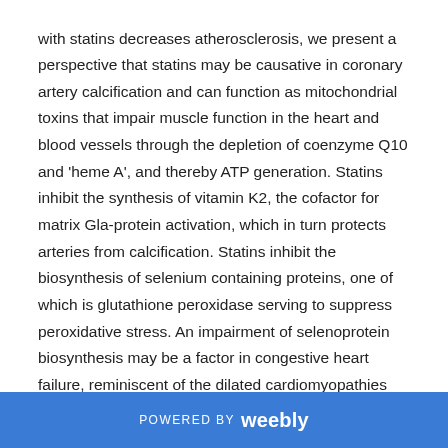with statins decreases atherosclerosis, we present a perspective that statins may be causative in coronary artery calcification and can function as mitochondrial toxins that impair muscle function in the heart and blood vessels through the depletion of coenzyme Q10 and 'heme A', and thereby ATP generation. Statins inhibit the synthesis of vitamin K2, the cofactor for matrix Gla-protein activation, which in turn protects arteries from calcification. Statins inhibit the biosynthesis of selenium containing proteins, one of which is glutathione peroxidase serving to suppress peroxidative stress. An impairment of selenoprotein biosynthesis may be a factor in congestive heart failure, reminiscent of the dilated cardiomyopathies seen with selenium deficiency. Thus, the epidemic of heart failure and atherosclerosis that
POWERED BY weebly